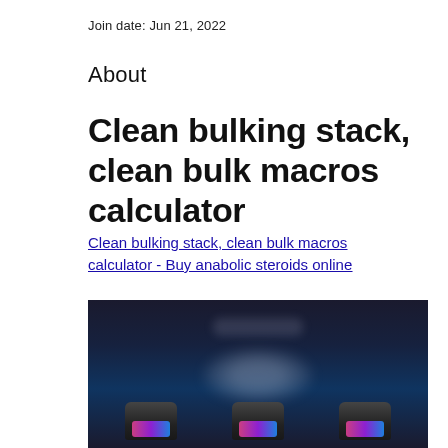Join date: Jun 21, 2022
About
Clean bulking stack, clean bulk macros calculator
Clean bulking stack, clean bulk macros calculator - Buy anabolic steroids online
[Figure (photo): Blurred dark product image showing supplement bottles at the bottom with colorful labels against a dark background]